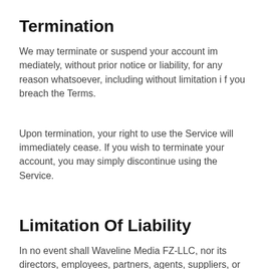Termination
We may terminate or suspend your account immediately, without prior notice or liability, for any reason whatsoever, including without limitation if you breach the Terms.
Upon termination, your right to use the Service will immediately cease. If you wish to terminate your account, you may simply discontinue using the Service.
Limitation Of Liability
In no event shall Waveline Media FZ-LLC, nor its directors, employees, partners, agents, suppliers, or affiliates, be liable for any indirect, incidental, special, consequential or punitive damages, including without limitation, loss of profits, data, use, goodwill, or other intangible losses, resulting from